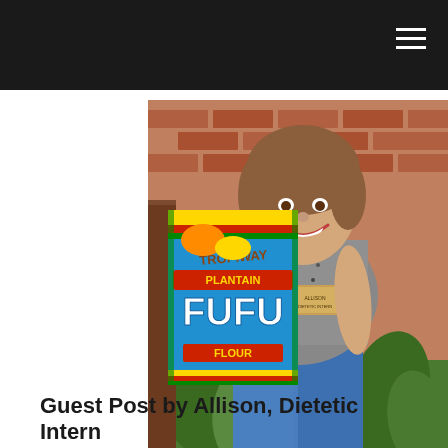[Figure (photo): A young woman smiling and holding up a box of Tropiway Plantain Fufu Flour. She is wearing a speckled sleeveless top, jeans, and a name badge. The background shows a brick wall and some greenery.]
Guest Post by Allison, Dietetic Intern